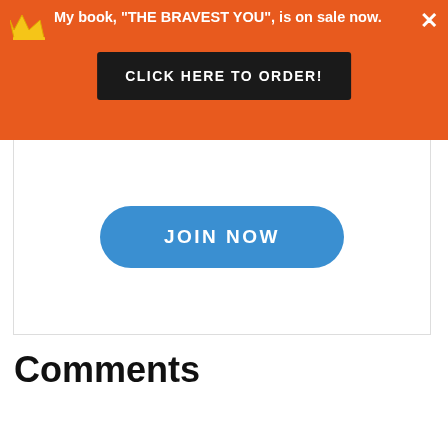My book, "THE BRAVEST YOU", is on sale now.
CLICK HERE TO ORDER!
JOIN NOW
Comments
Adam Smith says